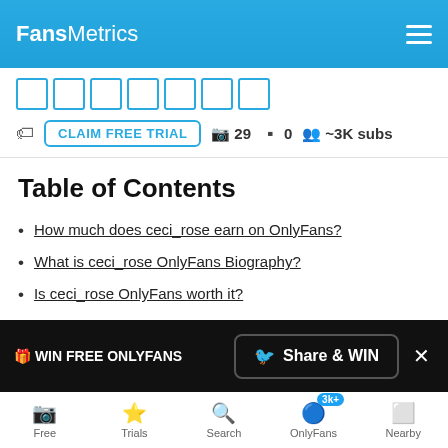FansMetrics
CLAIM FREE TRIAL  29  0  ~3K subs
Table of Contents
How much does ceci_rose earn on OnlyFans?
What is ceci_rose OnlyFans Biography?
Is ceci_rose OnlyFans worth it?
How can I access ceci_rose OnlyFans for free?
What country is ceci_rose from?
Frequently Asked Questions about ceci_rose OnlyFans
Free  Trials  Search  OnlyFans 3k+  Nearby